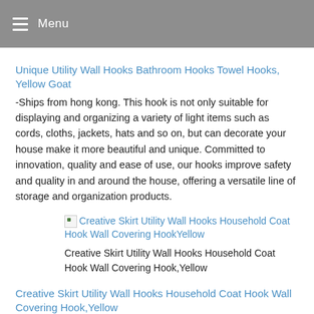Menu
Unique Utility Wall Hooks Bathroom Hooks Towel Hooks, Yellow Goat
-Ships from hong kong. This hook is not only suitable for displaying and organizing a variety of light items such as cords, cloths, jackets, hats and so on, but can decorate your house make it more beautiful and unique. Committed to innovation, quality and ease of use, our hooks improve safety and quality in and around the house, offering a versatile line of storage and organization products.
[Figure (photo): Broken image placeholder with link text: Creative Skirt Utility Wall Hooks Household Coat Hook Wall Covering HookYellow]
Creative Skirt Utility Wall Hooks Household Coat Hook Wall Covering Hook,Yellow
Creative Skirt Utility Wall Hooks Household Coat Hook Wall Covering Hook,Yellow
-Ships from hongkong. Use this beautiful and useful set of storage hooks to add stylish, sensible storage to your hallway, bedroom, bathroom, living room, or any other space. Add style, sparkle, and sensible storage to your home with this beautiful and useful wall-mounted hooks.